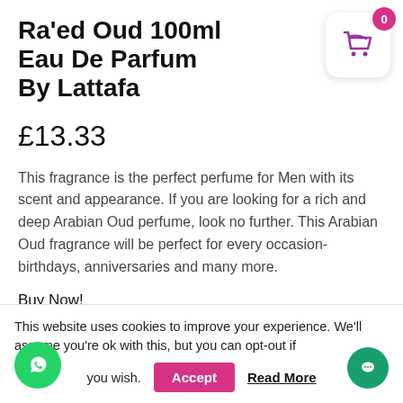Ra'ed Oud 100ml Eau De Parfum By Lattafa
£13.33
This fragrance is the perfect perfume for Men with its scent and appearance. If you are looking for a rich and deep Arabian Oud perfume, look no further. This Arabian Oud fragrance will be perfect for every occasion- birthdays, anniversaries and many more.
Buy Now!
This website uses cookies to improve your experience. We'll assume you're ok with this, but you can opt-out if you wish.